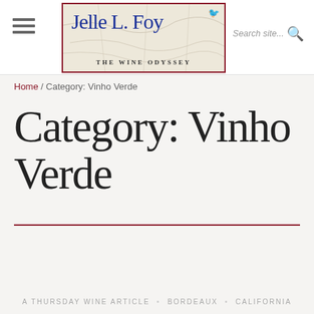John L. Foy - The Wine Odyssey
Home / Category: Vinho Verde
Category: Vinho Verde
A THURSDAY WINE ARTICLE • BORDEAUX • CALIFORNIA